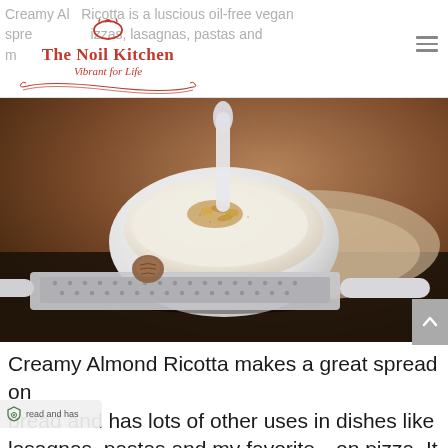The Noil Kitchen — Vibrant for Life
[Figure (photo): A white ceramic bowl filled with creamy almond ricotta topped with crushed nuts and spices, with a spoon inside. In the foreground is a metal grater and a whole nutmeg on a dark surface, with a beige cloth napkin in the background.]
Creamy Almond Ricotta makes a great spread on bread and has lots of other uses in dishes like lasagnas, pastas and my favorite—on pizza. It is very